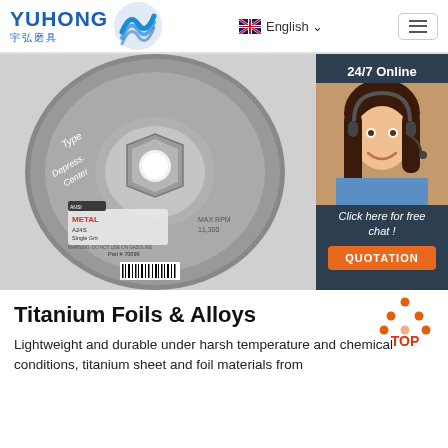YUHONG 宇弘磨具 | English | Menu
[Figure (photo): Close-up photo of a metal grinding disc/wheel with depressed center, showing label text including METAL, A24S, Part #70099, MAX RPM 11,300, with barcode. Type depressed center grinding wheel.]
[Figure (infographic): 24/7 Online chat widget with photo of female customer service representative wearing headset, dark blue background, italic text 'Click here for free chat!', and orange QUOTATION button.]
[Figure (illustration): Orange and red TOP arrow/triangle icon pointing upward with red text TOP]
Titanium Foils & Alloys
Lightweight and durable under harsh temperature and chemical conditions, titanium sheet and foil materials from